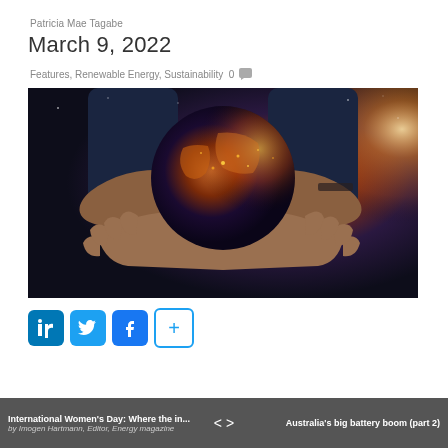Patricia Mae Tagabe
March 9, 2022
Features, Renewable Energy, Sustainability 0
[Figure (photo): Photograph of hands cupping a glowing globe of the Earth against a dark background with a bright light source behind it]
[Figure (infographic): Social media share buttons: LinkedIn (blue), Twitter (light blue), Facebook (blue), and a plus button]
International Women's Day: Where the in... < > Australia's big battery boom (part 2) by Imogen Hartmann, Editor, Energy magazine